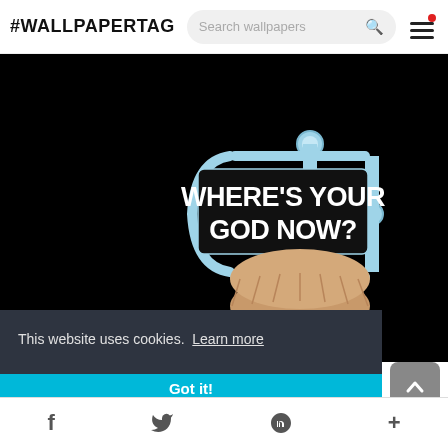#WALLPAPERTAG
[Figure (illustration): A toilet paper holder with an empty roll, mounted on a wall. The holder is light blue/chrome colored. White bold text reads WHERE'S YOUR GOD NOW? on a black background.]
This website uses cookies.  Learn more
Got it!
f  Twitter  P  +